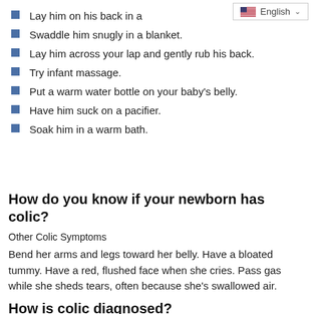Lay him on his back in a
Swaddle him snugly in a blanket.
Lay him across your lap and gently rub his back.
Try infant massage.
Put a warm water bottle on your baby's belly.
Have him suck on a pacifier.
Soak him in a warm bath.
How do you know if your newborn has colic?
Other Colic Symptoms
Bend her arms and legs toward her belly. Have a bloated tummy. Have a red, flushed face when she cries. Pass gas while she sheds tears, often because she's swallowed air.
How is colic diagnosed?